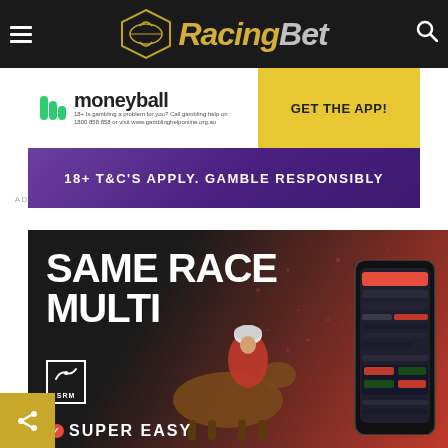[Figure (screenshot): RacingBet website header with navigation bar showing hamburger menu, RacingBet logo, and search icon on dark background]
[Figure (screenshot): Moneyball advertisement banner with logo and 'GET THE APP!' call-to-action button in yellow]
[Figure (screenshot): Purple advertisement banner with '18+ T&C'S APPLY. GAMBLE RESPONSIBLY' text]
ADVERTISEMENT
[Figure (screenshot): Same Race Multi promotional advertisement with jockey on horse, phone app mockup, SRM logo, and 'SUPER EASY' text on dark/red background]